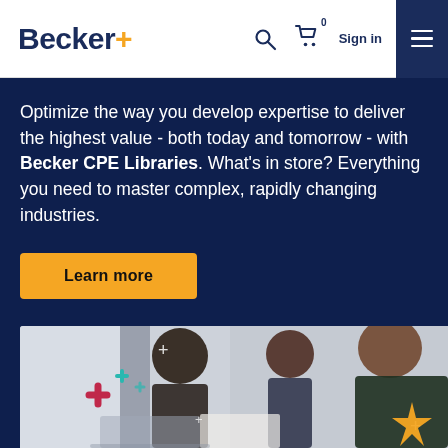Becker+  Sign in
Optimize the way you develop expertise to deliver the highest value - both today and tomorrow - with Becker CPE Libraries. What's in store? Everything you need to master complex, rapidly changing industries.
Learn more
[Figure (photo): Three professional people in a meeting room, one man with glasses and beard in foreground looking at documents, woman with dark hair in middle, Black man in background, with colorful plus/cross decorative elements overlaid on left side]